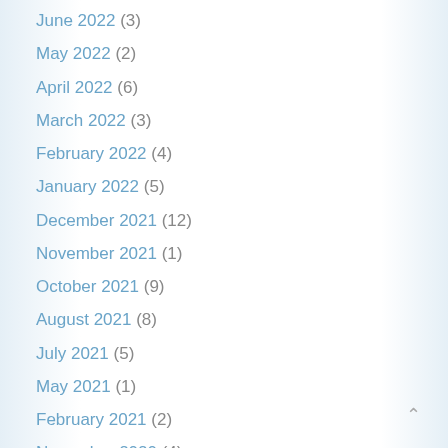June 2022 (3)
May 2022 (2)
April 2022 (6)
March 2022 (3)
February 2022 (4)
January 2022 (5)
December 2021 (12)
November 2021 (1)
October 2021 (9)
August 2021 (8)
July 2021 (5)
May 2021 (1)
February 2021 (2)
November 2020 (4)